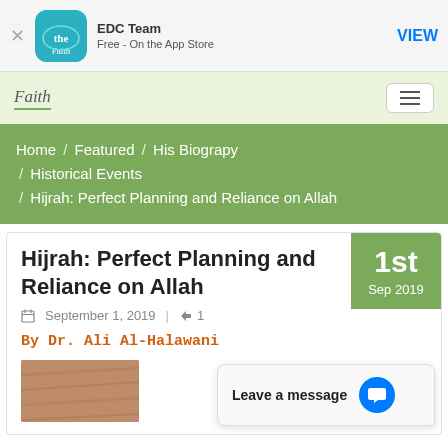[Figure (screenshot): App store banner for The Faith App by EDC Team, free on the App Store, with a VIEW button]
Faith (logo) with hamburger menu button
Home / Featured / His Biograpy / Historical Events / Hijrah: Perfect Planning and Reliance on Allah
Hijrah: Perfect Planning and Reliance on Allah
September 1, 2019  | 1
By Dr. Ali Al-Halawani
[Figure (photo): Article thumbnail image showing a textured surface]
Leave a message